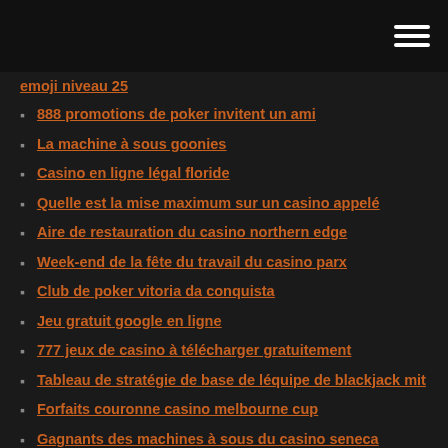emoji niveau 25
888 promotions de poker invitent un ami
La machine à sous goonies
Casino en ligne légal floride
Quelle est la mise maximum sur un casino appelé
Aire de restauration du casino northern edge
Week-end de la fête du travail du casino parx
Club de poker vitoria da conquista
Jeu gratuit google en ligne
777 jeux de casino à télécharger gratuitement
Tableau de stratégie de base de léquipe de blackjack mit
Forfaits couronne casino melbourne cup
Gagnants des machines à sous du casino seneca